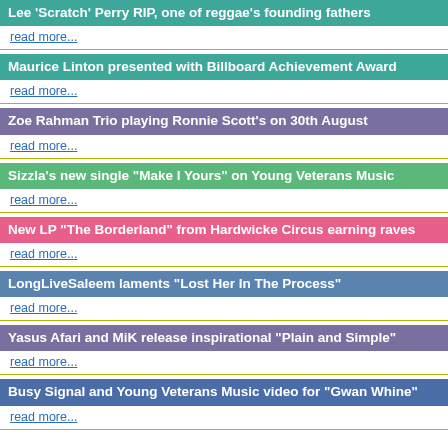Lee 'Scratch' Perry RIP, one of reggae's founding fathers
read more...
Maurice Linton presented with Billboard Achievement Award
read more...
Zoe Rahman Trio playing Ronnie Scott's on 30th August
read more...
Sizzla's new single "Make I Yours" on Young Veterans Music
read more...
New LP "The Borderland" from Hardwicke Circus earning raves
read more...
LongLiveSaleem laments "Lost Her In The Process"
read more...
Yasus Afari and MiK release inspirational "Plain and Simple"
read more...
Busy Signal and Young Veterans Music video for "Gwan Whine"
read more...